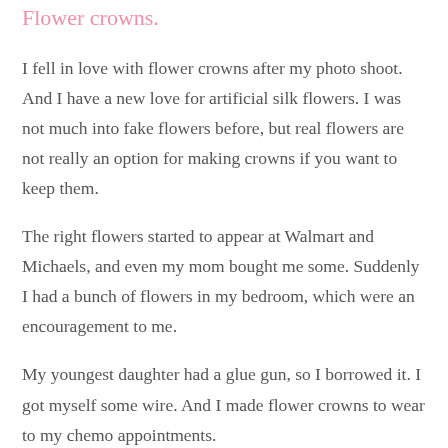Flower crowns.
I fell in love with flower crowns after my photo shoot. And I have a new love for artificial silk flowers. I was not much into fake flowers before, but real flowers are not really an option for making crowns if you want to keep them.
The right flowers started to appear at Walmart and Michaels, and even my mom bought me some. Suddenly I had a bunch of flowers in my bedroom, which were an encouragement to me.
My youngest daughter had a glue gun, so I borrowed it. I got myself some wire. And I made flower crowns to wear to my chemo appointments.